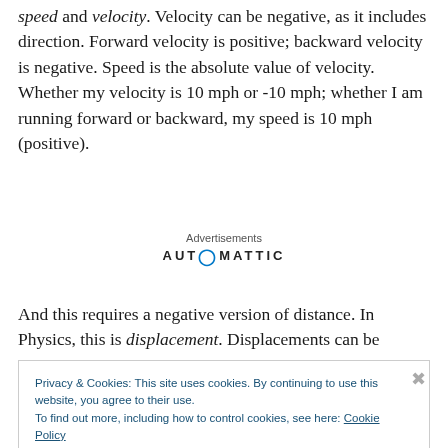speed and velocity. Velocity can be negative, as it includes direction. Forward velocity is positive; backward velocity is negative. Speed is the absolute value of velocity. Whether my velocity is 10 mph or -10 mph; whether I am running forward or backward, my speed is 10 mph (positive).
[Figure (other): Advertisements label with Automattic logo below it]
And this requires a negative version of distance. In Physics, this is displacement. Displacements can be
Privacy & Cookies: This site uses cookies. By continuing to use this website, you agree to their use. To find out more, including how to control cookies, see here: Cookie Policy